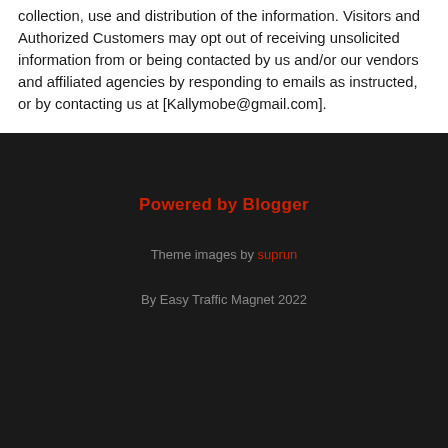collection, use and distribution of the information. Visitors and Authorized Customers may opt out of receiving unsolicited information from or being contacted by us and/or our vendors and affiliated agencies by responding to emails as instructed, or by contacting us at [Kallymobe@gmail.com].
Powered by Blogger
Theme images by suprun
By Easy Traffic Magnet 2022